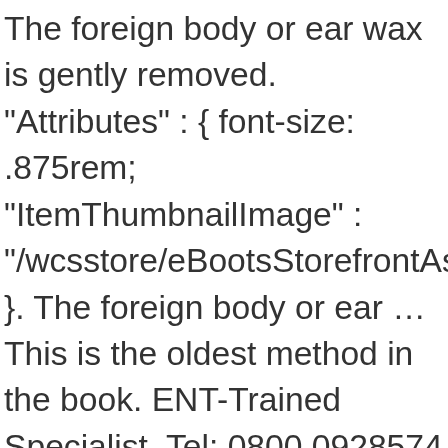The foreign body or ear wax is gently removed. "Attributes" : { font-size: .875rem; "ItemThumbnailImage" : "/wcsstore/eBootsStorefrontAssetStore/images/NoImageIcon_s }. The foreign body or ear … This is the oldest method in the book. ENT-Trained Specialist. Tel: 0800 0928574 ( 9.00 - 5.30 ) Email: Info@earsyringe.co.uk Unit 13 M3 Trade Park Manor Way Leigh Road, Eastleigh SO50 9YA Collect from one of 2,200 stores. Read more . 4 out of 5 stars (7) 7 product ratings - Medi Grade Ear Wax Remover Bulb Syringe [200ml] – Ear Cleaning Kit. A qualified audiologist will examine your ears using a video otoscope (camera). Northampton Ear Clinic is run by Jane Lewis, an Advanced Nurse practitioner with over 30 years of clinical experience. color: #333; "ItemImage467" : "/wcsstore/eBootsStorefrontAssetStore/images/NoImageIcon.jp